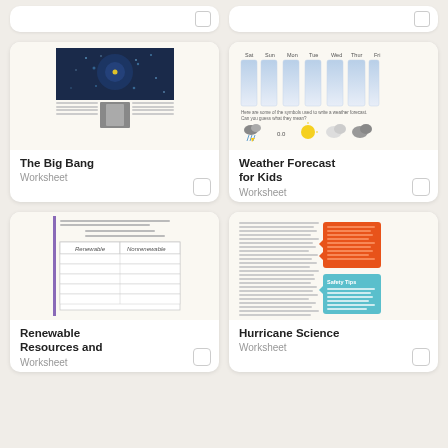[Figure (screenshot): Partial card at top left, partially visible]
[Figure (screenshot): Partial card at top right, partially visible]
[Figure (illustration): The Big Bang worksheet thumbnail showing a dark cosmic image and a black and white photo of a scientist with small text]
The Big Bang
Worksheet
[Figure (illustration): Weather Forecast for Kids worksheet thumbnail showing days of week Sat Sun Mon Tue Wed Thu Fri with gradient bars and weather symbols below]
Weather Forecast for Kids
Worksheet
[Figure (illustration): Renewable Resources worksheet thumbnail showing a two-column table with Renewable and Nonrenewable headers and purple vertical line accent]
Renewable Resources and
Worksheet
[Figure (illustration): Hurricane Science worksheet thumbnail showing text columns with orange and teal colored boxes on right side]
Hurricane Science
Worksheet